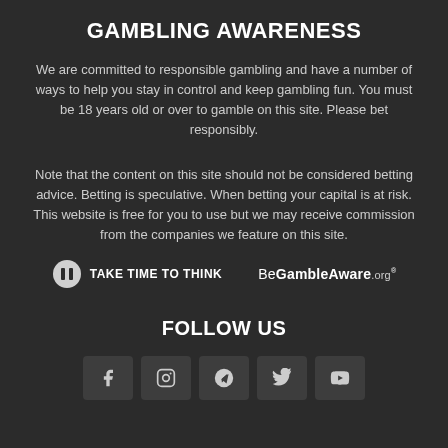GAMBLING AWARENESS
We are committed to responsible gambling and have a number of ways to help you stay in control and keep gambling fun. You must be 18 years old or over to gamble on this site. Please bet responsibly.
Note that the content on this site should not be considered betting advice. Betting is speculative. When betting your capital is at risk. This website is free for you to use but we may receive commission from the companies we feature on this site.
[Figure (logo): Take Time To Think logo with pause icon and BeGambleAware.org logo]
FOLLOW US
[Figure (infographic): Row of 5 social media icons: Facebook, Instagram, Telegram, Twitter, YouTube]